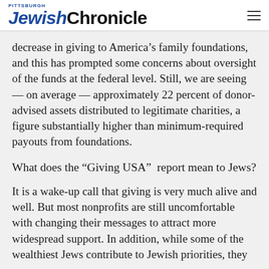Pittsburgh Jewish Chronicle
decrease in giving to America’s family foundations, and this has prompted some concerns about oversight of the funds at the federal level. Still, we are seeing — on average — approximately 22 percent of donor-advised assets distributed to legitimate charities, a figure substantially higher than minimum-required payouts from foundations.
What does the “Giving USA”  report mean to Jews?
It is a wake-up call that giving is very much alive and well. But most nonprofits are still uncomfortable with changing their messages to attract more widespread support. In addition, while some of the wealthiest Jews contribute to Jewish priorities, they